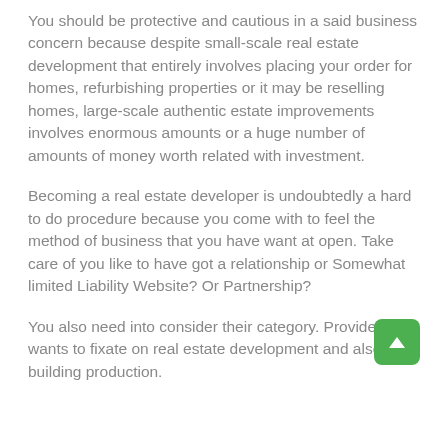You should be protective and cautious in a said business concern because despite small-scale real estate development that entirely involves placing your order for homes, refurbishing properties or it may be reselling homes, large-scale authentic estate improvements involves enormous amounts or a huge number of amounts of money worth related with investment.
Becoming a real estate developer is undoubtedly a hard to do procedure because you come with to feel the method of business that you have want at open. Take care of you like to have got a relationship or Somewhat limited Liability Website? Or Partnership?
You also need into consider their category. Provide you wants to fixate on real estate development and also building production.